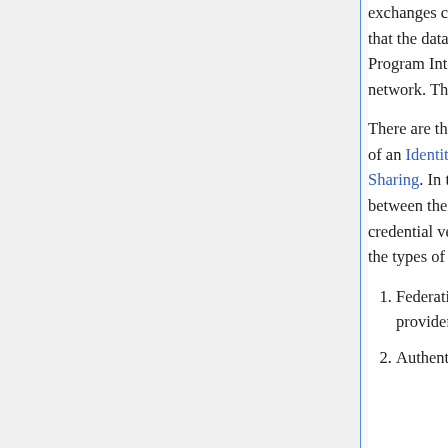exchanges can be represented as a Network Protocol on the way that the data flows among the various entities, or as an Application Program Interface for how one entity exposes the protocol to the network. This page is about the later.
There are three broad areas of sharing that occur in the maintenance of an Identity Ecosystem: credentials, grants and Information Sharing. In the case of credentialing, there is a huge asymmetry between the manner in which a web provider is expected to share credential versus an individual Subject, that teaches us to separate the types of API into these four categories:
Federation or credential sharing and verification among web providers,
Authentication or credential